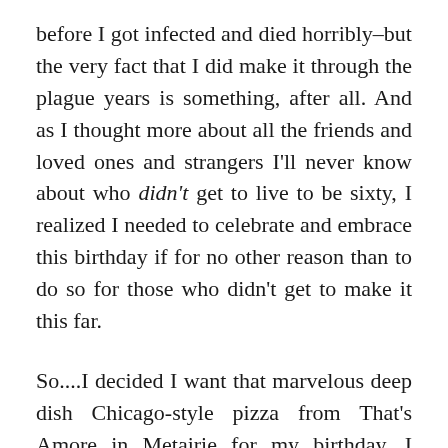before I got infected and died horribly–but the very fact that I did make it through the plague years is something, after all. And as I thought more about all the friends and loved ones and strangers I'll never know about who didn't get to live to be sixty, I realized I needed to celebrate and embrace this birthday if for no other reason than to do so for those who didn't get to make it this far.

So....I decided I want that marvelous deep dish Chicago-style pizza from That's Amore in Metairie for my birthday. I made an appointment for some Greg-care on Friday